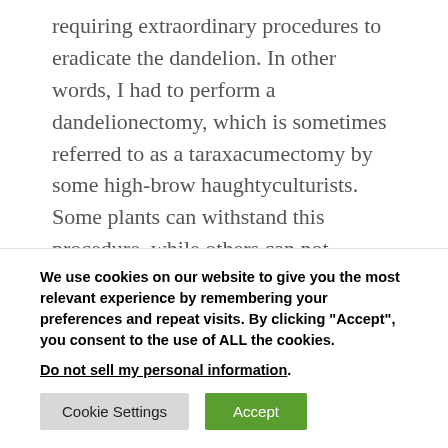requiring extraordinary procedures to eradicate the dandelion. In other words, I had to perform a dandelionectomy, which is sometimes referred to as a taraxacumectomy by some high-brow haughtyculturists. Some plants can withstand this procedure, while others can not. Fortunately many daylilies, including this 'Stella d'Oro' that I swore I was getting rid of but haven't, can easily withstand…
We use cookies on our website to give you the most relevant experience by remembering your preferences and repeat visits. By clicking "Accept", you consent to the use of ALL the cookies.
Do not sell my personal information.
Cookie Settings | Accept